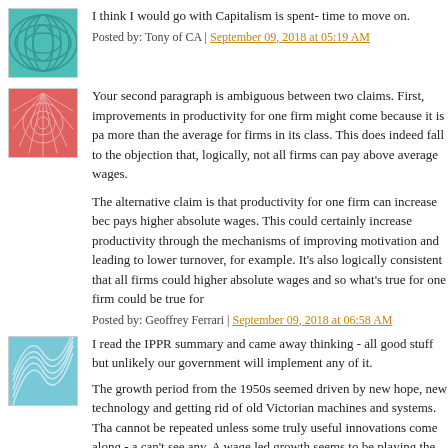I think I would go with Capitalism is spent- time to move on.
Posted by: Tony of CA | September 09, 2018 at 05:19 AM
Your second paragraph is ambiguous between two claims. First, improvements in productivity for one firm might come because it is pa more than the average for firms in its class. This does indeed fall to the objection that, logically, not all firms can pay above average wages.
The alternative claim is that productivity for one firm can increase bec pays higher absolute wages. This could certainly increase productivity through the mechanisms of improving motivation and leading to lower turnover, for example. It’s also logically consistent that all firms could higher absolute wages and so what’s true for one firm could be true for
Posted by: Geoffrey Ferrari | September 09, 2018 at 06:58 AM
I read the IPPR summary and came away thinking - all good stuff but unlikely our government will implement any of it.
The growth period from the 1950s seemed driven by new hope, new technology and getting rid of old Victorian machines and systems. Tha cannot be repeated unless some truly useful innovations come along - a can't see any. A wage led growth seems to be playing the same musical